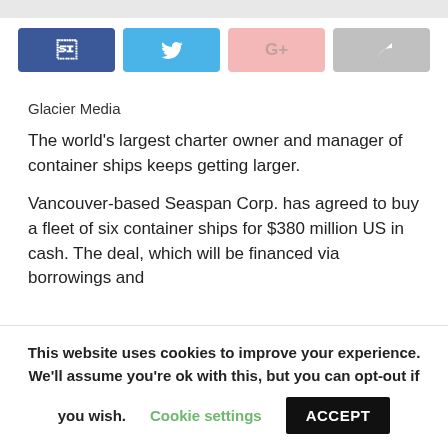[Figure (infographic): Social share buttons: Facebook (dark blue), Twitter (light blue), Google+ (pink), Share (grey)]
Glacier Media
The world's largest charter owner and manager of container ships keeps getting larger.
Vancouver-based Seaspan Corp. has agreed to buy a fleet of six container ships for $380 million US in cash. The deal, which will be financed via borrowings and
This website uses cookies to improve your experience. We'll assume you're ok with this, but you can opt-out if you wish. Cookie settings ACCEPT